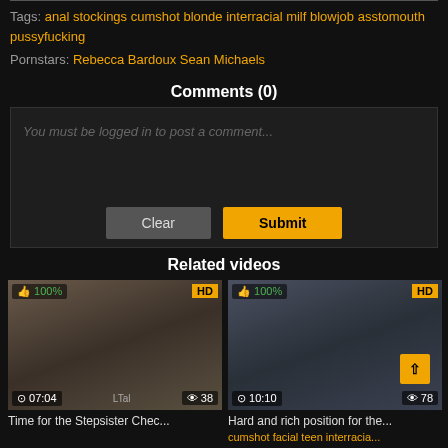Tags: anal stockings cumshot blonde interracial milf blowjob asstomouth pussyfucking
Pornstars: Rebecca Bardoux Sean Michaels
Comments (0)
You must be logged in to post a comment...
Related videos
[Figure (screenshot): Video thumbnail showing a woman, duration 07:04, 38 views, 100% like rating, HD badge]
Time for the Stepsister Chec...
[Figure (screenshot): Video thumbnail showing two men and a woman, duration 10:10, 78 views, 100% like rating, HD badge]
Hard and rich position for the... cumshot facial teen interracia...